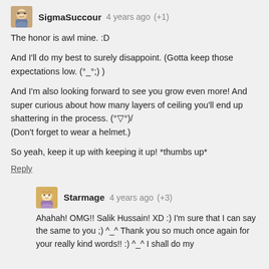[Figure (illustration): Avatar thumbnail of SigmaSuccour user — cartoon/illustrated character with glasses]
SigmaSuccour  4 years ago  (+1)
The honor is awl mine. :D
And I'll do my best to surely disappoint. (Gotta keep those expectations low. (°_°;) )
And I'm also looking forward to see you grow even more!  And super curious about how many layers of ceiling you'll end up shattering in the process. (°▽°)/ (Don't forget to wear a helmet.)
So yeah, keep it up with keeping it up! *thumbs up*
Reply
[Figure (illustration): Avatar thumbnail of Starmage user — anime-style character with blonde hair]
Starmage  4 years ago  (+3)
Ahahah! OMG!! Salik Hussain! XD :) I'm sure that I can say the same to you ;) ^_^ Thank you so much once again for your really kind words!! :) ^_^ I shall do my